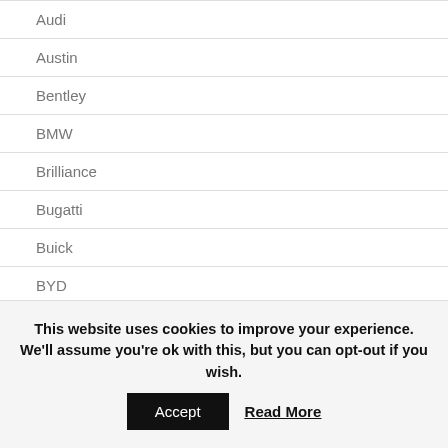Audi
Austin
Bentley
BMW
Brilliance
Bugatti
Buick
BYD
Cadillac
Chana
Changan
This website uses cookies to improve your experience. We'll assume you're ok with this, but you can opt-out if you wish.
Accept
Read More